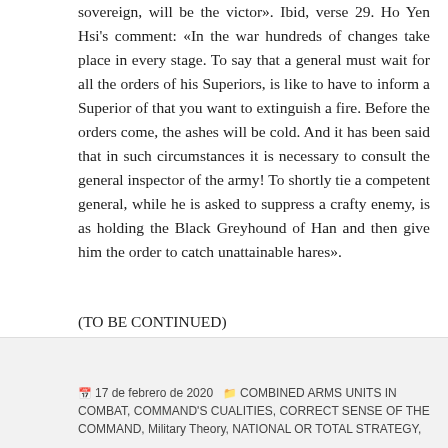sovereign, will be the victor». Ibid, verse 29. Ho Yen Hsi's comment: «In the war hundreds of changes take place in every stage. To say that a general must wait for all the orders of his Superiors, is like to have to inform a Superior of that you want to extinguish a fire. Before the orders come, the ashes will be cold. And it has been said that in such circumstances it is necessary to consult the general inspector of the army! To shortly tie a competent general, while he is asked to suppress a crafty enemy, is as holding the Black Greyhound of Han and then give him the order to catch unattainable hares».
(TO BE CONTINUED)
17 de febrero de 2020   COMBINED ARMS UNITS IN COMBAT, COMMAND'S CUALITIES, CORRECT SENSE OF THE COMMAND, Military Theory, NATIONAL OR TOTAL STRATEGY,